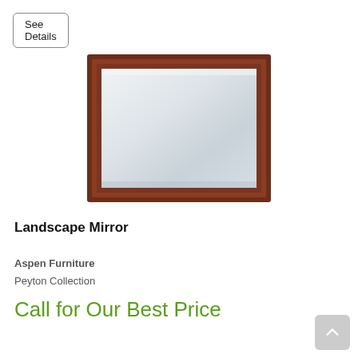See Details
[Figure (photo): A landscape mirror with a dark cherry/mahogany wooden rectangular frame and a reflective glass surface, shown against a white background.]
Landscape Mirror
Aspen Furniture
Peyton Collection
Call for Our Best Price